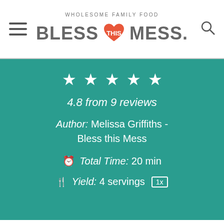WHOLESOME FAMILY FOOD — BLESS THIS MESS.
★ ★ ★ ★ ★
4.8 from 9 reviews
Author: Melissa Griffiths - Bless this Mess
Total Time: 20 min
Yield: 4 servings 1x